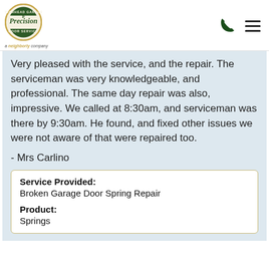[Figure (logo): Precision Overhead Garage Door Service logo - circular badge with green and gold text, a neighborly company]
Very pleased with the service, and the repair. The serviceman was very knowledgeable, and professional. The same day repair was also, impressive. We called at 8:30am, and serviceman was there by 9:30am. He found, and fixed other issues we were not aware of that were repaired too.
- Mrs Carlino
| Service Provided: | Broken Garage Door Spring Repair |
| Product: | Springs |